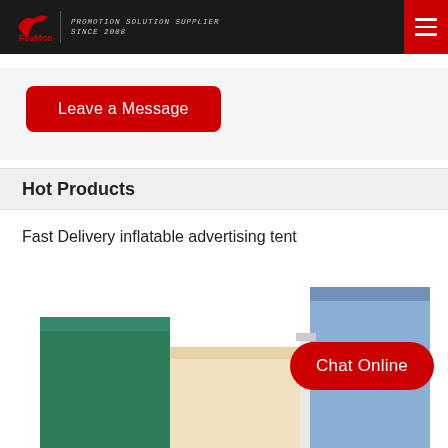FeaMont — PROMOTION SOLUTION SUPPLIER SINCE 2008
Leave a Message
Hot Products
Fast Delivery inflatable advertising tent
[Figure (photo): Inflatable advertising tents in green, beige/cream, white, and blue colors lined up side by side]
Chat Online